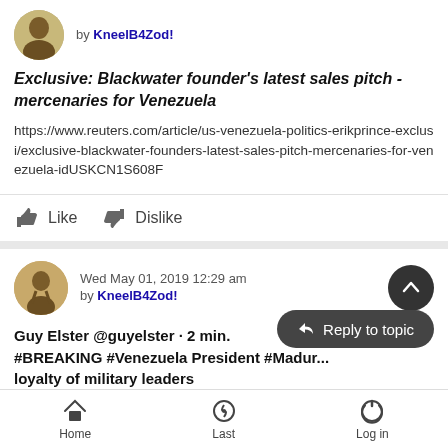by KneelB4Zod!
Exclusive: Blackwater founder's latest sales pitch - mercenaries for Venezuela
https://www.reuters.com/article/us-venezuela-politics-erikprince-exclusi/exclusive-blackwater-founders-latest-sales-pitch-mercenaries-for-venezuela-idUSKCN1S608F
Like   Dislike
Wed May 01, 2019 12:29 am
by KneelB4Zod!
Guy Elster @guyelster · 2 min.
#BREAKING #Venezuela President #Madur...
loyalty of military leaders
Home   Last   Log in